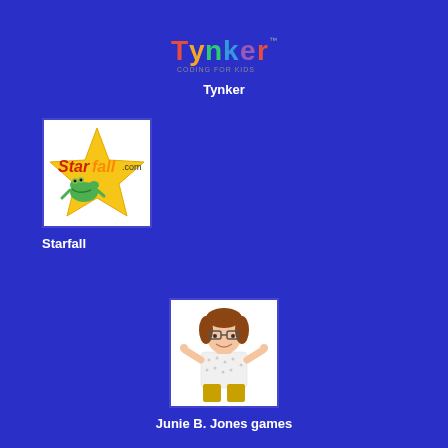[Figure (logo): Tynker coding for kids logo with colorful letters]
Tynker
[Figure (logo): Starfall.com logo with yellow star and green frog on white background]
Starfall
[Figure (illustration): Junie B. Jones character illustration - girl with glasses and brown hair on white background]
Junie B. Jones games